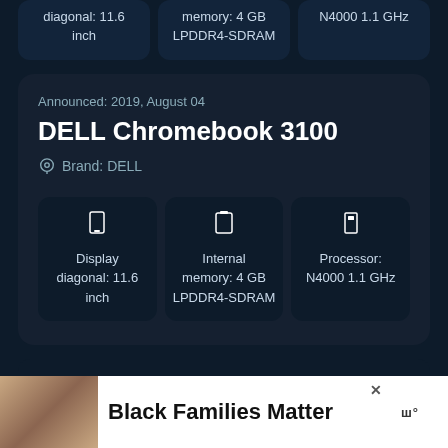diagonal: 11.6 inch
memory: 4 GB LPDDR4-SDRAM
N4000 1.1 GHz
Announced: 2019, August 04
DELL Chromebook 3100
Brand: DELL
Display diagonal: 11.6 inch
Internal memory: 4 GB LPDDR4-SDRAM
Processor: N4000 1.1 GHz
Black Families Matter